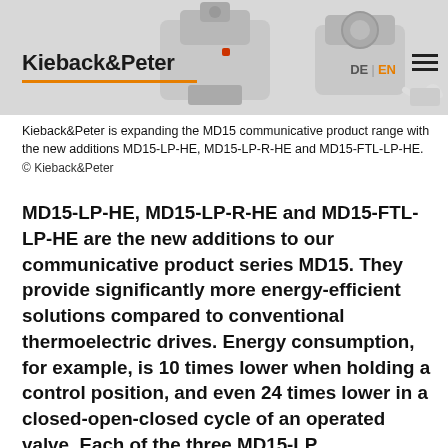[Figure (photo): Header area showing Kieback&Peter logo with orange underline, navigation links DE and EN (EN highlighted in orange), hamburger menu icon, and product photos of MD15 communicative valve drives on grey background]
Kieback&Peter is expanding the MD15 communicative product range with the new additions MD15-LP-HE, MD15-LP-R-HE and MD15-FTL-LP-HE.
© Kieback&Peter
MD15-LP-HE, MD15-LP-R-HE and MD15-FTL-LP-HE are the new additions to our communicative product series MD15. They provide significantly more energy-efficient solutions compared to conventional thermoelectric drives. Energy consumption, for example, is 10 times lower when holding a control position, and even 24 times lower in a closed-open-closed cycle of an operated valve. Each of the three MD15-LP